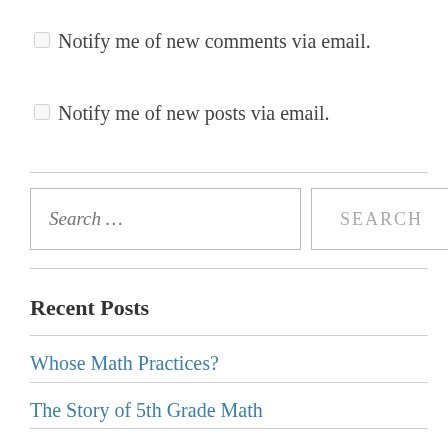Notify me of new comments via email.
Notify me of new posts via email.
Search …
Recent Posts
Whose Math Practices?
The Story of 5th Grade Math
The Right Words